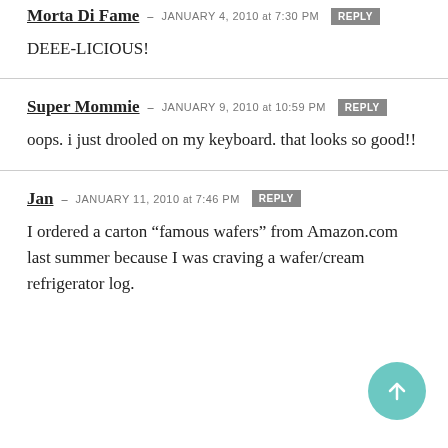Morta Di Fame — JANUARY 4, 2010 at 7:30 PM [REPLY]
DEEE-LICIOUS!
Super Mommie — JANUARY 9, 2010 at 10:59 PM [REPLY]
oops. i just drooled on my keyboard. that looks so good!!
Jan — JANUARY 11, 2010 at 7:46 PM [REPLY]
I ordered a carton “famous wafers” from Amazon.com last summer because I was craving a wafer/cream refrigerator log.